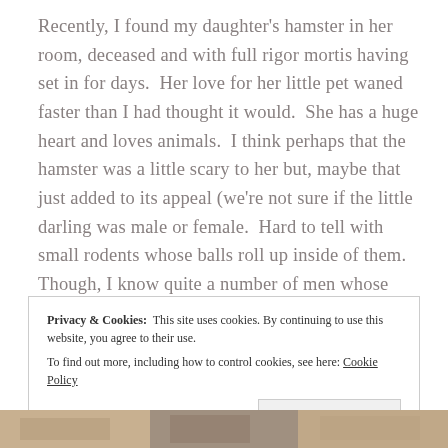Recently, I found my daughter's hamster in her room, deceased and with full rigor mortis having set in for days.  Her love for her little pet waned faster than I had thought it would.  She has a huge heart and loves animals.  I think perhaps that the hamster was a little scary to her but, maybe that just added to its appeal (we're not sure if the little darling was male or female.  Hard to tell with small rodents whose balls roll up inside of them.  Though, I know quite a number of men whose balls have permanently rolled up inside of them or perhaps they have disappeared all together).
Privacy & Cookies:  This site uses cookies. By continuing to use this website, you agree to their use.
To find out more, including how to control cookies, see here: Cookie Policy
Close and accept
[Figure (photo): Partial photo strip at bottom of page showing what appears to be animals or people, cropped.]